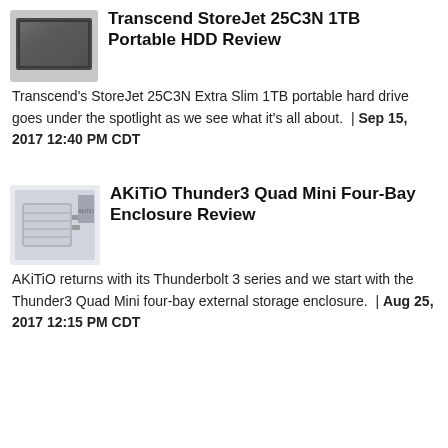[Figure (photo): Transcend StoreJet 25C3N 1TB portable HDD product photo - slim dark grey drive]
Transcend StoreJet 25C3N 1TB Portable HDD Review
Transcend's StoreJet 25C3N Extra Slim 1TB portable hard drive goes under the spotlight as we see what it's all about. | Sep 15, 2017 12:40 PM CDT
[Figure (photo): AKiTiO Thunder3 Quad Mini Four-Bay Enclosure product photo - silver desktop enclosure in box]
AKiTiO Thunder3 Quad Mini Four-Bay Enclosure Review
AKiTiO returns with its Thunderbolt 3 series and we start with the Thunder3 Quad Mini four-bay external storage enclosure. | Aug 25, 2017 12:15 PM CDT